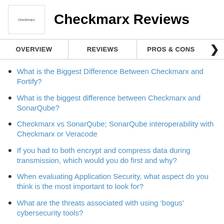Checkmarx Reviews
What is the Biggest Difference Between Checkmarx and Fortify?
What is the biggest difference between Checkmarx and SonarQube?
Checkmarx vs SonarQube; SonarQube interoperability with Checkmarx or Veracode
If you had to both encrypt and compress data during transmission, which would you do first and why?
When evaluating Application Security, what aspect do you think is the most important to look for?
What are the threats associated with using 'bogus' cybersecurity tools?